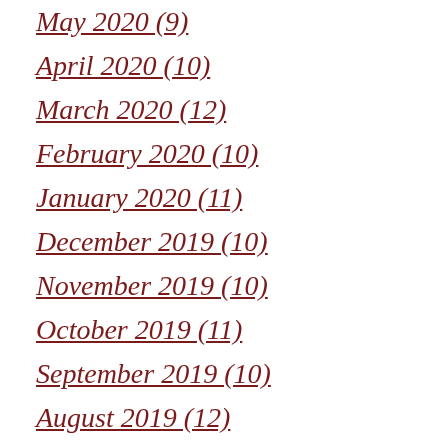May 2020 (9)
April 2020 (10)
March 2020 (12)
February 2020 (10)
January 2020 (11)
December 2019 (10)
November 2019 (10)
October 2019 (11)
September 2019 (10)
August 2019 (12)
July 2019 (10)
June 2019 (10)
May 2019 (11)
April 2019 (11)